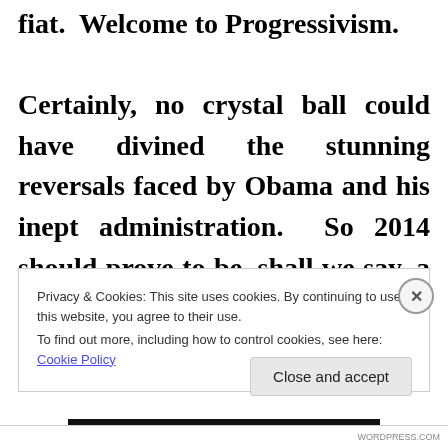fiat.  Welcome to Progressivism.

Certainly, no crystal ball could have divined the stunning reversals faced by Obama and his inept administration.  So 2014 should prove to be, shall we say, a very interesting upcoming year.  Let's
Privacy & Cookies: This site uses cookies. By continuing to use this website, you agree to their use.
To find out more, including how to control cookies, see here: Cookie Policy
Close and accept
WORDPRESS.COM